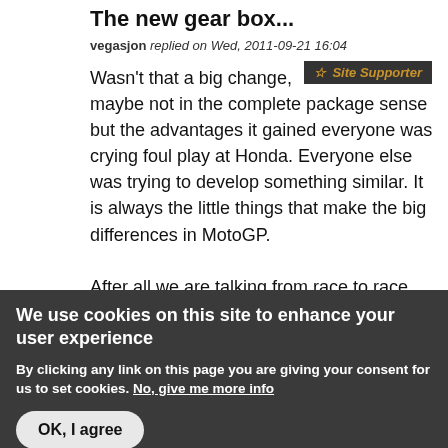The new gear box...
vegasjon replied on Wed, 2011-09-21 16:04
☆ Site Supporter
Wasn't that a big change, maybe not in the complete package sense but the advantages it gained everyone was crying foul play at Honda. Everyone else was trying to develop something similar. It is always the little things that make the big differences in MotoGP.
After all we are talking from race to race about 1/10ths of seconds in the lap times, which over 22-23 laps become 6-8...
We use cookies on this site to enhance your user experience
By clicking any link on this page you are giving your consent for us to set cookies. No, give me more info
OK, I agree